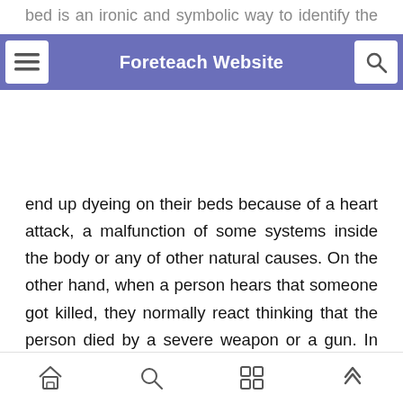bed is an ironic and symbolic way to identify the idea of death. People who die normally, they end up dyeing on their beds because of a heart attack, a malfunction of some systems inside the body or any of other natural causes. On the other hand, when a person hears that someone got killed, they normally react thinking that the person died by a severe weapon or a gun. In the Tell-Tale what happens throughout the murder is the totally opposite to the normal life and death situations. The man was died but not normally and still his bed was used in the death process but instead of
Foreteach Website